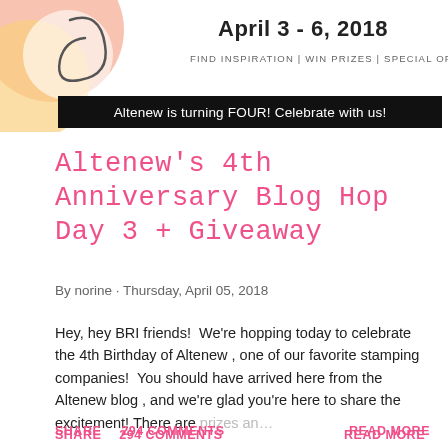[Figure (illustration): Blog hop banner with decorative circular graphic in pink and yellow/orange on the left, 'April 3 - 6, 2018' text on top right, and 'FIND INSPIRATION | WIN PRIZES | SPECIAL OFFERS' tagline below the date. Black bar with white text: 'Altenew is turning FOUR! Celebrate with us!']
Altenew's 4th Anniversary Blog Hop Day 3 + Giveaway
By norine · Thursday, April 05, 2018
Hey, hey BRI friends!  We're hopping today to celebrate the 4th Birthday of Altenew , one of our favorite stamping companies!  You should have arrived here from the Altenew blog , and we're glad you're here to share the excitement! There are prizes an… …
SHARE   294 COMMENTS   READ MORE